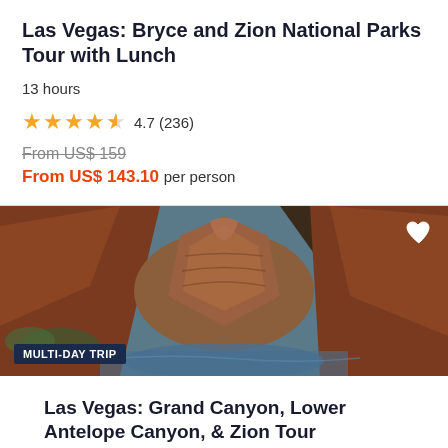Las Vegas: Bryce and Zion National Parks Tour with Lunch
13 hours
4.7 (236)
From US$ 159
From US$ 143.10 per person
[Figure (photo): Aerial view of Horseshoe Bend / Lower Antelope Canyon with red rock formations and blue water, with MULTI-DAY TRIP badge and heart icon overlay]
Las Vegas: Grand Canyon, Lower Antelope Canyon, & Zion Tour
GetYourGuide uses cookies to give you the best possible service. If you continue browsing, you agree to the use of cookies. More details can be found in our privacy policy.